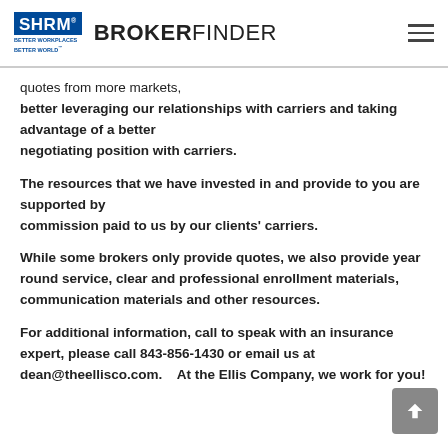SHRM BROKERFINDER
quotes from more markets, better leveraging our relationships with carriers and taking advantage of a better negotiating position with carriers.
The resources that we have invested in and provide to you are supported by commission paid to us by our clients' carriers.
While some brokers only provide quotes, we also provide year round service, clear and professional enrollment materials, communication materials and other resources.
For additional information, call to speak with an insurance expert, please call 843-856-1430 or email us at dean@theellisco.com.   At the Ellis Company, we work for you!